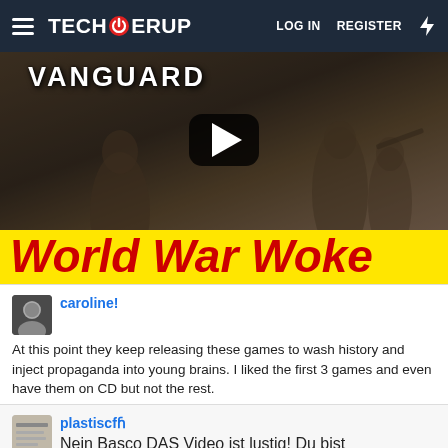TECHPOWERUP  LOG IN  REGISTER
[Figure (screenshot): Video thumbnail for 'World War Woke' — a Call of Duty Vanguard related video with a yellow banner and red italic bold text reading 'World War Woke', a YouTube-style play button in the center, and VANGUARD text at the top left with military figures in the background.]
caroline!
At this point they keep releasing these games to wash history and inject propaganda into young brains. I liked the first 3 games and even have them on CD but not the rest.

Dec 29, 2021

👍 basco and plastiscfɦ
plastiscfɦ
Nein Basco DAS Video ist lustig! Du bist mein 2ter Ösi-Freund hier.